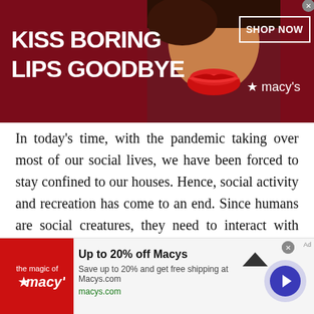[Figure (photo): Macy's banner advertisement with dark red background, woman's face with red lips in center, 'KISS BORING LIPS GOODBYE' text on left, 'SHOP NOW' button and Macy's star logo on right]
In today’s time, with the pandemic taking over most of our social lives, we have been forced to stay confined to our houses. Hence, social activity and recreation has come to an end. Since humans are social creatures, they need to interact with others but due to the current situation social distancing has become the new norm and meeting new people outside your home has become nearly impossible.
At Talkwithstranger, we allow people to use our platform and make new friends. Our private chat rooms allow you to meet outstanding individuals from all parts of the
[Figure (photo): Macy's bottom banner advertisement with red square logo on left, 'Up to 20% off Macys' title, 'Save up to 20% and get free shipping at Macys.com' description, macys.com URL, and blue circular arrow button on right]